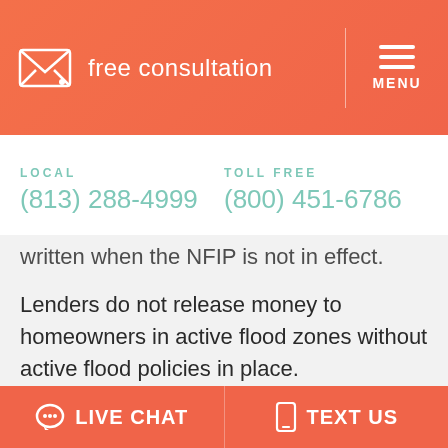free consultation  MENU
LOCAL (813) 288-4999   TOLL FREE (800) 451-6786
written when the NFIP is not in effect.
Lenders do not release money to homeowners in active flood zones without active flood policies in place.
For all of these reasons, it is essential for Florida homeowners to make sure their flood and hurricane insurance is up to
LIVE CHAT   TEXT US